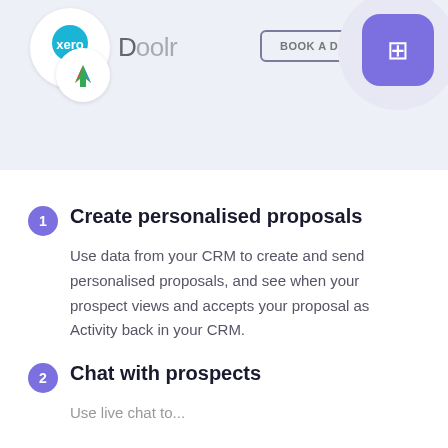[Figure (screenshot): Header banner with Xero logo circle, an arrow-up logo circle, brand name 'Doolr', a 'BOOK A DEMO' button, and a purple puzzle icon circle on the right, all on a light grey-blue background.]
1 Create personalised proposals
Use data from your CRM to create and send personalised proposals, and see when your prospect views and accepts your proposal as Activity back in your CRM.
2 Chat with prospects
Use live chat to...